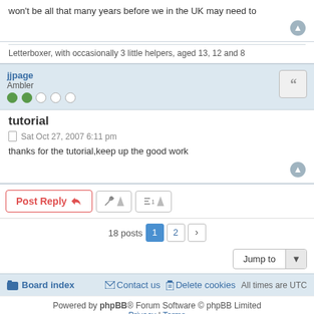won't be all that many years before we in the UK may need to
Letterboxer, with occasionally 3 little helpers, aged 13, 12 and 8
jjpage
Ambler
tutorial
Sat Oct 27, 2007 6:11 pm
thanks for the tutorial,keep up the good work
Post Reply | tools | sort | 18 posts 1 2 > | Jump to
Board index  Contact us  Delete cookies  All times are UTC
Powered by phpBB® Forum Software © phpBB Limited
Privacy | Terms